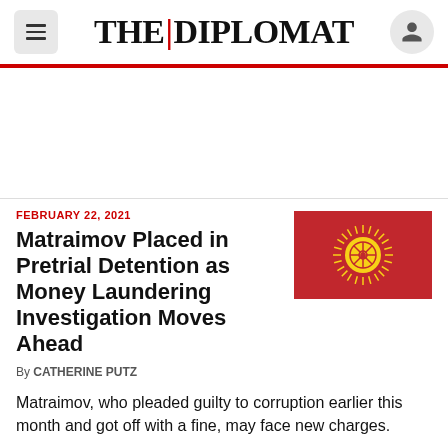THE DIPLOMAT
[Figure (other): Advertisement space / blank white area]
FEBRUARY 22, 2021
Matraimov Placed in Pretrial Detention as Money Laundering Investigation Moves Ahead
[Figure (illustration): Flag of Kyrgyzstan — red background with yellow sun and tunduk symbol]
By CATHERINE PUTZ
Matraimov, who pleaded guilty to corruption earlier this month and got off with a fine, may face new charges.